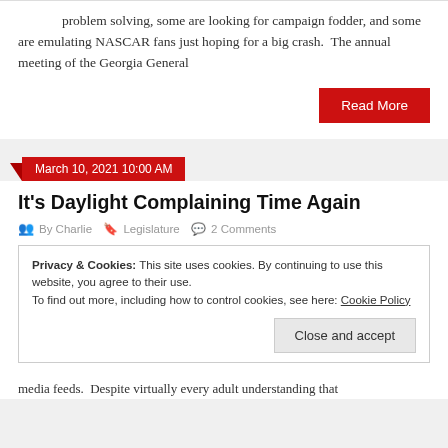problem solving, some are looking for campaign fodder, and some are emulating NASCAR fans just hoping for a big crash.  The annual meeting of the Georgia General
Read More
March 10, 2021 10:00 AM
It’s Daylight Complaining Time Again
By Charlie  Legislature  2 Comments
Privacy & Cookies: This site uses cookies. By continuing to use this website, you agree to their use.
To find out more, including how to control cookies, see here: Cookie Policy
Close and accept
media feeds.  Despite virtually every adult understanding that